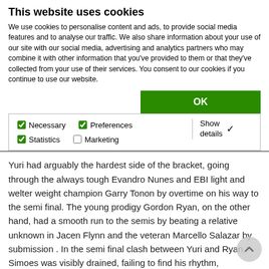This website uses cookies
We use cookies to personalise content and ads, to provide social media features and to analyse our traffic. We also share information about your use of our site with our social media, advertising and analytics partners who may combine it with other information that you've provided to them or that they've collected from your use of their services. You consent to our cookies if you continue to use our website.
OK
Necessary  Preferences  Statistics  Marketing  Show details
Yuri had arguably the hardest side of the bracket, going through the always tough Evandro Nunes and EBI light and welter weight champion Garry Tonon by overtime on his way to the semi final. The young prodigy Gordon Ryan, on the other hand, had a smooth run to the semis by beating a relative unknown in Jacen Flynn and the veteran Marcello Salazar by submission . In the semi final clash between Yuri and Ryan, Simoes was visibly drained, failing to find his rhythm, something Ryan took gladly, sinking some dangerous attacks and guiding the Caio Terra athlete to over time where Gordon came out the